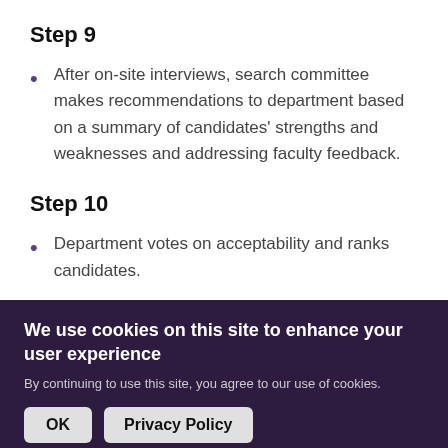Step 9
After on-site interviews, search committee makes recommendations to department based on a summary of candidates' strengths and weaknesses and addressing faculty feedback.
Step 10
Department votes on acceptability and ranks candidates.
We use cookies on this site to enhance your user experience
By continuing to use this site, you agree to our use of cookies.
OK   Privacy Policy